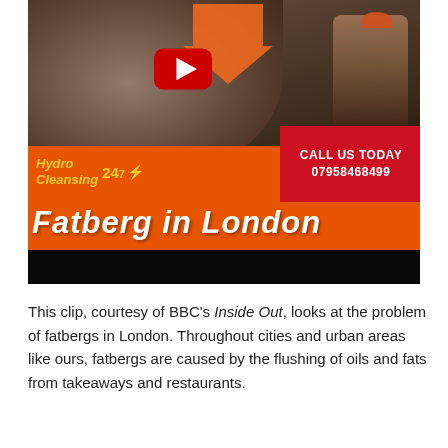[Figure (screenshot): Video thumbnail showing a fatberg sewer scene with a worker in a hard hat on the right, an orange arrow pointing down, a YouTube play button in the center, a Hydro Cleansing 24-7 orange banner with a red call-to-action box reading 'CALL US TODAY 07958468499', and a large orange banner reading 'FATBERG IN LONDON' at the bottom.]
This clip, courtesy of BBC's Inside Out, looks at the problem of fatbergs in London. Throughout cities and urban areas like ours, fatbergs are caused by the flushing of oils and fats from takeaways and restaurants.